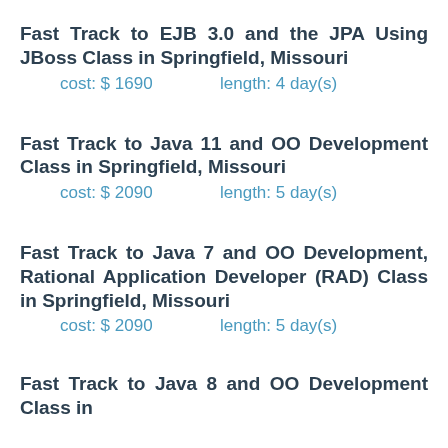Fast Track to EJB 3.0 and the JPA Using JBoss Class in Springfield, Missouri
cost: $ 1690    length: 4 day(s)
Fast Track to Java 11 and OO Development Class in Springfield, Missouri
cost: $ 2090    length: 5 day(s)
Fast Track to Java 7 and OO Development, Rational Application Developer (RAD) Class in Springfield, Missouri
cost: $ 2090    length: 5 day(s)
Fast Track to Java 8 and OO Development Class in